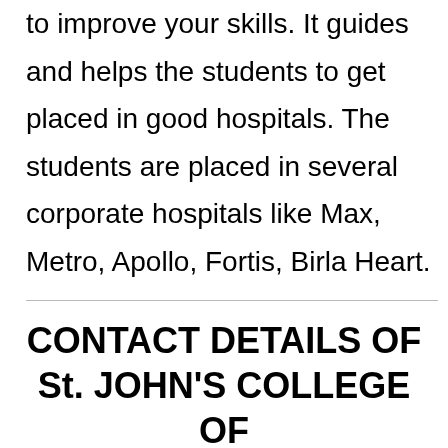to improve your skills. It guides and helps the students to get placed in good hospitals. The students are placed in several corporate hospitals like Max, Metro, Apollo, Fortis, Birla Heart.
CONTACT DETAILS OF St. JOHN'S COLLEGE OF NURSING